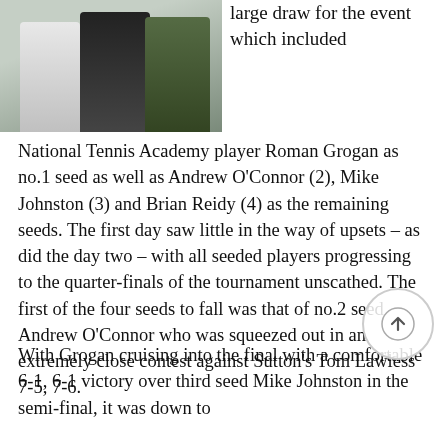[Figure (photo): Three people standing together in a group photo, likely at a tennis event. Left person in white, middle in dark vest, right in dark shirt with logo.]
large draw for the event which included National Tennis Academy player Roman Grogan as no.1 seed as well as Andrew O'Connor (2), Mike Johnston (3) and Brian Reidy (4) as the remaining seeds. The first day saw little in the way of upsets – as did the day two – with all seeded players progressing to the quarter-finals of the tournament unscathed. The first of the four seeds to fall was that of no.2 seed Andrew O'Connor who was squeezed out in an extremely close contest against Sutton's Tom Lawless 7-5, 7-6.
With Grogan cruising into the final with a comfortable 6-1, 6-1 victory over third seed Mike Johnston in the semi-final, it was down to